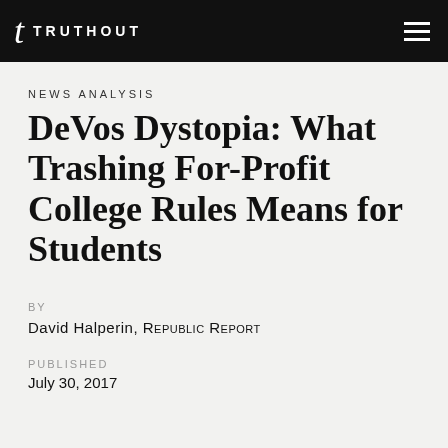TRUTHOUT
NEWS ANALYSIS
DeVos Dystopia: What Trashing For-Profit College Rules Means for Students
BY
David Halperin, Republic Report
PUBLISHED
July 30, 2017